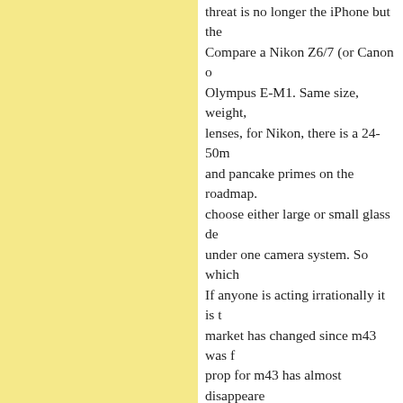threat is no longer the iPhone but the Compare a Nikon Z6/7 (or Canon o Olympus E-M1. Same size, weight, lenses, for Nikon, there is a 24-50m and pancake primes on the roadmap. choose either large or small glass de under one camera system. So which If anyone is acting irrationally it is t market has changed since m43 was prop for m43 has almost disappeare
Posted by: Kevin | Friday, 12 March 2021 at 08:38 AM
Brandon makes a really good point. their customers in a cycle of continu customers buying a new phone every That's a lot of money committed to t more than a phone. The practicality stand-alone camera when so much a